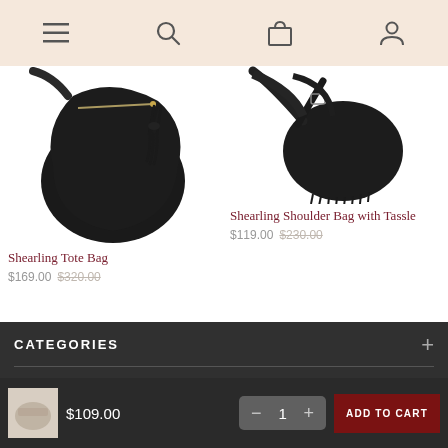[Figure (screenshot): E-commerce mobile navigation bar with hamburger menu, search, cart, and profile icons on a beige/peach background]
[Figure (photo): Black shearling tote bag with tassel and zipper on white background]
Shearling Tote Bag
$169.00 $320.00
[Figure (photo): Black shearling shoulder bag with fringe tassel detail on white background]
Shearling Shoulder Bag with Tassle
$119.00 $230.00
CATEGORIES
[Figure (photo): Small thumbnail of a light-colored bag]
$109.00
1
ADD TO CART